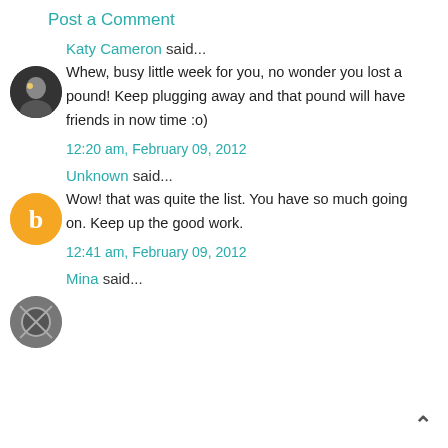Post a Comment
Katy Cameron said...
Whew, busy little week for you, no wonder you lost a pound! Keep plugging away and that pound will have friends in now time :o)
12:20 am, February 09, 2012
Unknown said...
Wow! that was quite the list. You have so much going on. Keep up the good work.
12:41 am, February 09, 2012
Mina said...